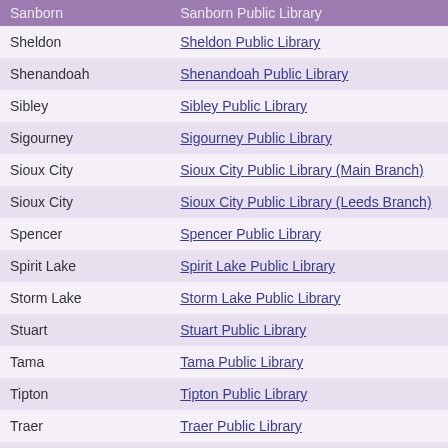| Sanborn | Sanborn Public Library |
| --- | --- |
| Sheldon | Sheldon Public Library |
| Shenandoah | Shenandoah Public Library |
| Sibley | Sibley Public Library |
| Sigourney | Sigourney Public Library |
| Sioux City | Sioux City Public Library (Main Branch) |
| Sioux City | Sioux City Public Library (Leeds Branch) |
| Spencer | Spencer Public Library |
| Spirit Lake | Spirit Lake Public Library |
| Storm Lake | Storm Lake Public Library |
| Stuart | Stuart Public Library |
| Tama | Tama Public Library |
| Tipton | Tipton Public Library |
| Traer | Traer Public Library |
| Villisca | Villisca Public Library |
| Vinton | Vinton Public Library |
| Waterloo | Waterloo Public Library (East Side) |
| Waterloo | Waterloo Public Library (West Side) |
| Waverly | Waverly Public Library |
| West Liberty | West Liberty Public Library |